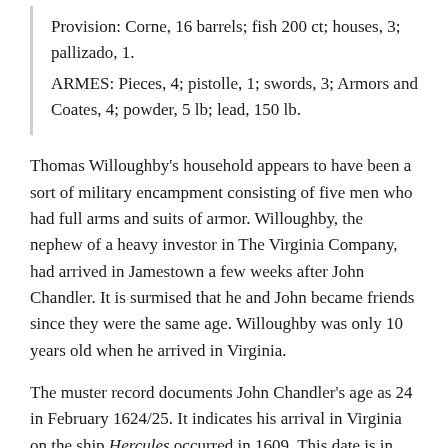Provision: Corne, 16 barrels; fish 200 ct; houses, 3; pallizado, 1.
ARMES: Pieces, 4; pistolle, 1; swords, 3; Armors and Coates, 4; powder, 5 lb; lead, 150 lb.
Thomas Willoughby's household appears to have been a sort of military encampment consisting of five men who had full arms and suits of armor. Willoughby, the nephew of a heavy investor in The Virginia Company, had arrived in Jamestown a few weeks after John Chandler. It is surmised that he and John became friends since they were the same age. Willoughby was only 10 years old when he arrived in Virginia.
The muster record documents John Chandler's age as 24 in February 1624/25. It indicates his arrival in Virginia on the ship Hercules occurred in 1609. This date is in error or perhaps arose from the precise nature of the question being asked of the colonists. Research shows that the Hercules did not arrive in